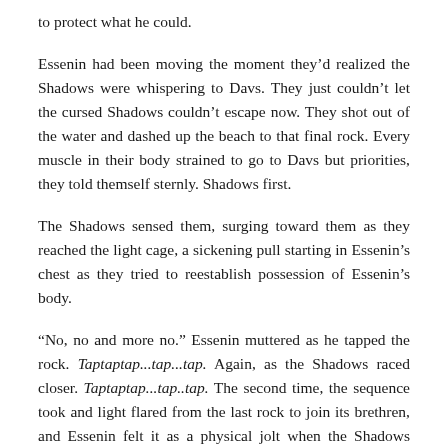to protect what he could.
Essenin had been moving the moment they’d realized the Shadows were whispering to Davs. They just couldn’t let the cursed Shadows couldn’t escape now. They shot out of the water and dashed up the beach to that final rock. Every muscle in their body strained to go to Davs but priorities, they told themself sternly. Shadows first.
The Shadows sensed them, surging toward them as they reached the light cage, a sickening pull starting in Essenin’s chest as they tried to reestablish possession of Essenin’s body.
“No, no and more no.” Essenin muttered as he tapped the rock. Taptaptap...tap...tap. Again, as the Shadows raced closer. Taptaptap...tap..tap. The second time, the sequence took and light flared from the last rock to join its brethren, and Essenin felt it as a physical jolt when the Shadows slammed into that final light barrier and recoiled back.